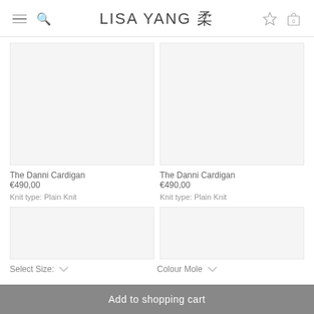LISA YANG 柔
[Figure (photo): Product image placeholder for The Danni Cardigan (left), light grey background]
[Figure (photo): Product image placeholder for The Danni Cardigan (right), light grey background]
The Danni Cardigan
€490,00
Knit type: Plain Knit
The Danni Cardigan
€490,00
Knit type: Plain Knit
[Figure (photo): Product image placeholder bottom-left, light grey background, partial view]
[Figure (photo): Product image placeholder bottom-right, light grey background, partial view]
Select Size:
Colour Mole
Add to shopping cart